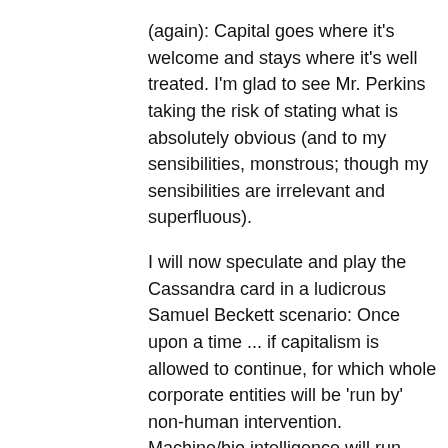(again): Capital goes where it's welcome and stays where it's well treated. I'm glad to see Mr. Perkins taking the risk of stating what is absolutely obvious (and to my sensibilities, monstrous; though my sensibilities are irrelevant and superfluous).

I will now speculate and play the Cassandra card in a ludicrous Samuel Beckett scenario: Once upon a time ... if capitalism is allowed to continue, for which whole corporate entities will be 'run by' non-human intervention. Machine/bio intelligence will run
see more
↑ | ↓  Reply
[Figure (logo): Red square avatar with white light bulb icon]
The Parrot → The Parrot
9 years ago
Thanks for the link Robert. I wouldn't dispute this notion in principle. Seems prudent. However, the tech, scientific, bio, engineering, cognition, and robotics sectors won't wait. Even more importantly, the market won't wait. Not only will the market demand this